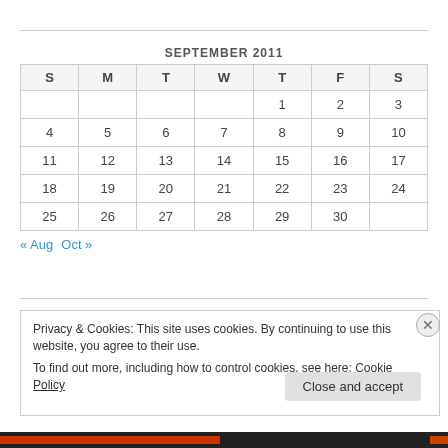SEPTEMBER 2011
| S | M | T | W | T | F | S |
| --- | --- | --- | --- | --- | --- | --- |
|  |  |  |  | 1 | 2 | 3 |
| 4 | 5 | 6 | 7 | 8 | 9 | 10 |
| 11 | 12 | 13 | 14 | 15 | 16 | 17 |
| 18 | 19 | 20 | 21 | 22 | 23 | 24 |
| 25 | 26 | 27 | 28 | 29 | 30 |  |
« Aug   Oct »
Privacy & Cookies: This site uses cookies. By continuing to use this website, you agree to their use.
To find out more, including how to control cookies, see here: Cookie Policy